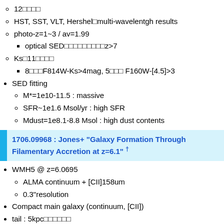12□□□□
HST, SST, VLT, Hershel□multi-wavelentgh results
photo-z=1~3 / av=1.99
optical SED□□□□□□□□□z>7
Ks□11□□□□
8□□□F814W-Ks>4mag, 5□□□ F160W-[4.5]>3
SED fitting
M*=1e10-11.5 : massive
SFR~1e1.6 Msol/yr : high SFR
Mdust=1e8.1-8.8 Msol : high dust contents
1706.09968 : Jones+ "Galaxy Formation Through Filamentary Accretion at z=6.1" †
WMH5 @ z=6.0695
ALMA continuum + [CII]158um
0.3"resolution
Compact main galaxy (continuum, [CII])
tail : 5kpc□□□□□□
100km/s, 250km/s□□□□□□□□□□□□□
□□□□80km/s□□□
□□□3kpc□□□□□□□□main galaxy□□□□